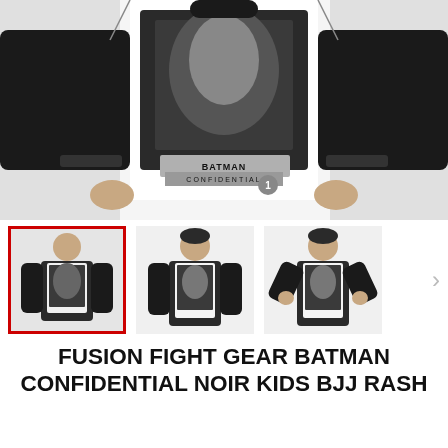[Figure (photo): Main product photo showing a child wearing a black and white Batman Confidential long-sleeve BJJ rash guard, torso and arms visible, Batman comic art printed on front]
[Figure (photo): Thumbnail 1 (selected, red border): child wearing Batman Confidential noir rash guard, front view]
[Figure (photo): Thumbnail 2: child wearing Batman Confidential noir rash guard, front view standing straight]
[Figure (photo): Thumbnail 3: child wearing Batman Confidential noir rash guard, hands on hips]
FUSION FIGHT GEAR BATMAN CONFIDENTIAL NOIR KIDS BJJ RASH